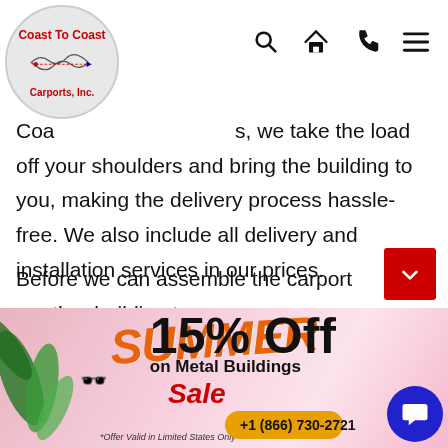Coast To Coast Carports, Inc. [logo] [nav icons: search, home, phone, menu]
Coast [To Coast Carports], we take the load off your shoulders and bring the building to you, making the delivery process hassle-free. We also include all delivery and installation services in our prices.
Before we can assemble the carport or other building type on your property, you must have a level site that is clear of all debris and vegetation. If your site is not level or the installation crew must travel more than 50 feet to access your site, additional fees will be charged.
[Figure (infographic): Summer Sale banner advertisement: SUMMER Sale in orange/red italic text, 15% Off on Metal Buildings in bold black, phone number +1 (866) 730-2721 in orange pill, *Offer Valid in Limited States Only disclaimer, decorative tropical leaves, sunglasses emoji, blue chat bubble icon.]